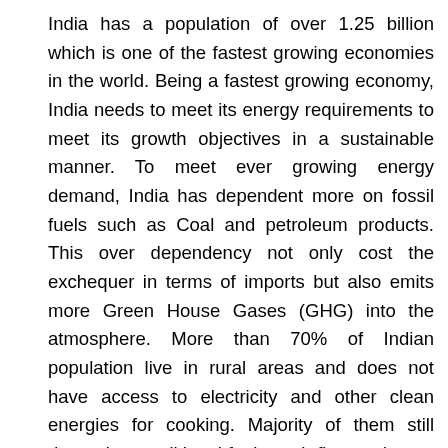India has a population of over 1.25 billion which is one of the fastest growing economies in the world. Being a fastest growing economy, India needs to meet its energy requirements to meet its growth objectives in a sustainable manner. To meet ever growing energy demand, India has dependent more on fossil fuels such as Coal and petroleum products. This over dependency not only cost the exchequer in terms of imports but also emits more Green House Gases (GHG) into the atmosphere. More than 70% of Indian population live in rural areas and does not have access to electricity and other clean energies for cooking. Majority of them still depend on traditional fuels such firewood, crop residue, organic waste such as dung cakes to meet their